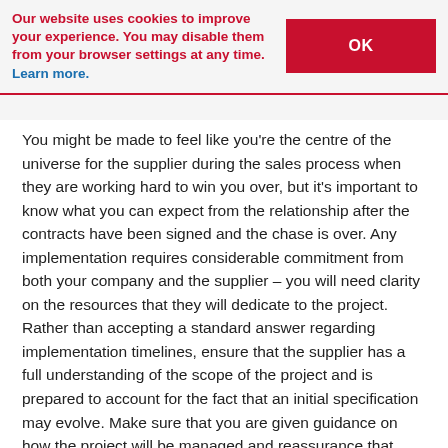Our website uses cookies to improve your experience. You may disable them from your browser settings at any time. Learn more.
You might be made to feel like you're the centre of the universe for the supplier during the sales process when they are working hard to win you over, but it's important to know what you can expect from the relationship after the contracts have been signed and the chase is over. Any implementation requires considerable commitment from both your company and the supplier – you will need clarity on the resources that they will dedicate to the project. Rather than accepting a standard answer regarding implementation timelines, ensure that the supplier has a full understanding of the scope of the project and is prepared to account for the fact that an initial specification may evolve. Make sure that you are given guidance on how the project will be managed and reassurance that your priorities are taken into consideration when planning the phases of work. Also,